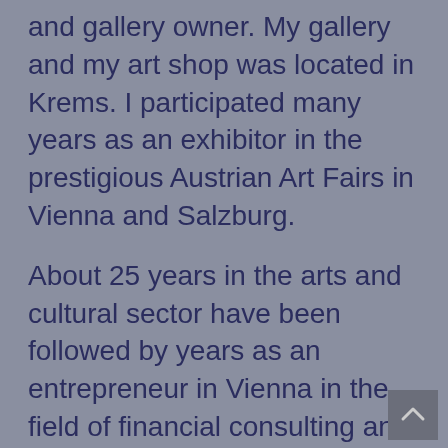and gallery owner. My gallery and my art shop was located in Krems. I participated many years as an exhibitor in the prestigious Austrian Art Fairs in Vienna and Salzburg.
About 25 years in the arts and cultural sector have been followed by years as an entrepreneur in Vienna in the field of financial consulting and communication training.
Now I go back to my old love - the world of art and culture. And I am very pleased to be able to inspire all of my guests and friends with my passion for the finer